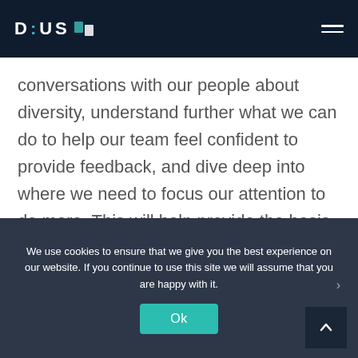DIUS
conversations with our people about diversity, understand further what we can do to help our team feel confident to provide feedback, and dive deep into where we need to focus our attention to do more. This will help provide the basis of our new diversity plan. We look forward to driving change in this area.
We use cookies to ensure that we give you the best experience on our website. If you continue to use this site we will assume that you are happy with it.